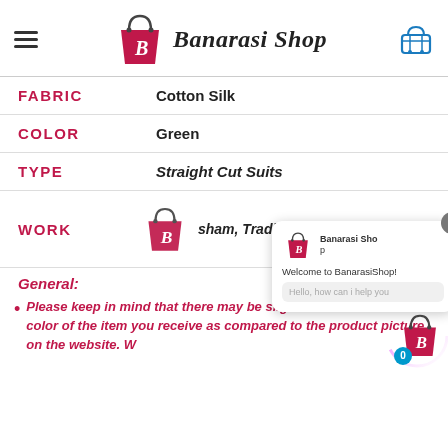Banarasi Shop
| Attribute | Value |
| --- | --- |
| FABRIC | Cotton Silk |
| COLOR | Green |
| TYPE | Straight Cut Suits |
| WORK | Resham, Traditional, Zari |
General:
Please keep in mind that there may be slight variations in the color of the item you receive as compared to the product picture on the website. W…
[Figure (screenshot): BanarasiShop chat popup with welcome message 'Welcome to BanarasiShop!' and input placeholder 'Hello, how can i help you', with close button X]
[Figure (logo): Floating BanarasiShop chat widget with badge showing 0]